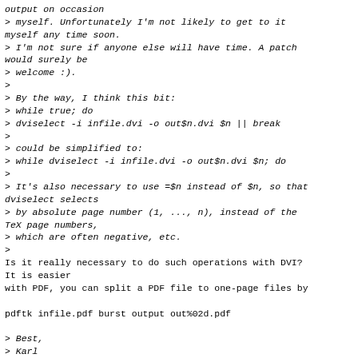output on occasion
> myself.  Unfortunately I'm not likely to get to it
myself any time soon.
> I'm not sure if anyone else will have time.  A patch
would surely be
> welcome :).
>
> By the way, I think this bit:
>    while true; do
>       dviselect -i infile.dvi -o out$n.dvi $n || break
>
> could be simplified to:
>    while dviselect -i infile.dvi -o out$n.dvi $n; do
>
> It's also necessary to use =$n instead of $n, so that
dviselect selects
> by absolute page number (1, ..., n), instead of the
TeX page numbers,
> which are often negative, etc.
>
Is it really necessary to do such operations with DVI?
It is easier
with PDF, you can split a PDF file to one-page files by

pdftk infile.pdf burst output out%02d.pdf

> Best,
> Karl